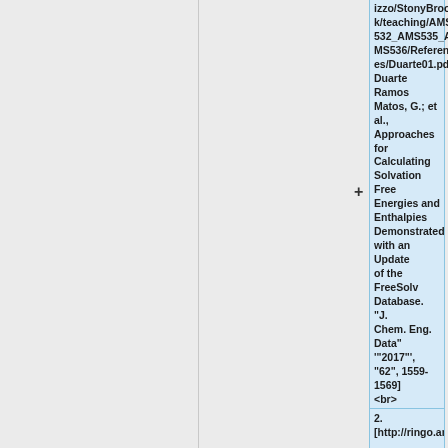izzo/StonyBrook/teaching/AMS532_AMS535_AMS536/References/Duarte01.pdf Duarte Ramos Matos, G.; et al., Approaches for Calculating Solvation Free Energies and Enthalpies Demonstrated with an Update of the FreeSolv Database. "J. Chem. Eng. Data" """2017""", "62", 1559-1569] <br>
2. [http://ringo.am